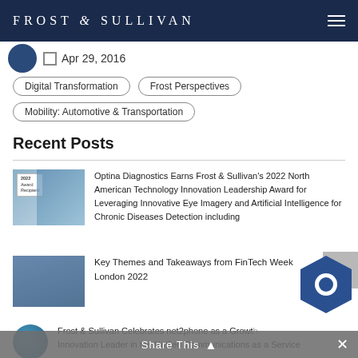FROST & SULLIVAN
Apr 29, 2016
Digital Transformation
Frost Perspectives
Mobility: Automotive & Transportation
Recent Posts
Optina Diagnostics Earns Frost & Sullivan's 2022 North American Technology Innovation Leadership Award for Leveraging Innovative Eye Imagery and Artificial Intelligence for Chronic Diseases Detection including
Key Themes and Takeaways from FinTech Week London 2022
Frost & Sullivan Celebrates net2phone as a Growth Innovation Leader in the Unified Communications as a Service
Share This